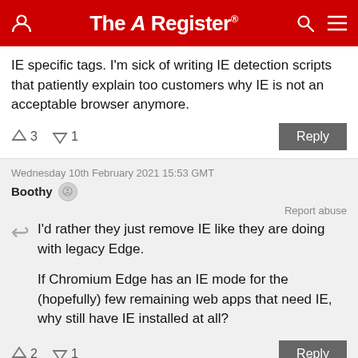The Register
IE specific tags. I'm sick of writing IE detection scripts that patiently explain too customers why IE is not an acceptable browser anymore.
↑3  ↓1   Reply
Wednesday 10th February 2021 15:53 GMT
Boothy
Report abuse
I'd rather they just remove IE like they are doing with legacy Edge.

If Chromium Edge has an IE mode for the (hopefully) few remaining web apps that need IE, why still have IE installed at all?
↑2  ↓1   Reply
Wednesday 10th February 2021 16:34 GMT